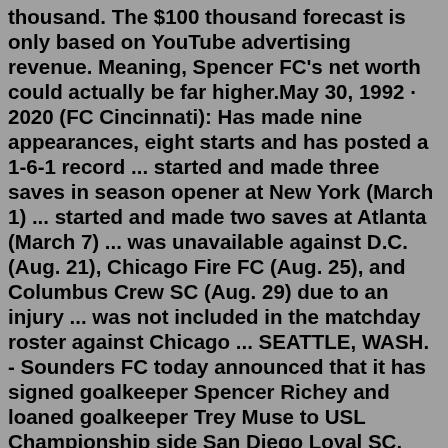thousand. The $100 thousand forecast is only based on YouTube advertising revenue. Meaning, Spencer FC's net worth could actually be far higher.May 30, 1992 · 2020 (FC Cincinnati): Has made nine appearances, eight starts and has posted a 1-6-1 record ... started and made three saves in season opener at New York (March 1) ... started and made two saves at Atlanta (March 7) ... was unavailable against D.C. (Aug. 21), Chicago Fire FC (Aug. 25), and Columbus Crew SC (Aug. 29) due to an injury ... was not included in the matchday roster against Chicago ... SEATTLE, WASH. - Sounders FC today announced that it has signed goalkeeper Spencer Richey and loaned goalkeeper Trey Muse to USL Championship side San Diego Loyal SC. Richey, a Seattle native and University of Washington product, joins the Rave Green after five professional seasons with Vancouver Whitecaps FC and FC Cincinnati.The latest tweets from @spencerctfcSpencer returned to the pitch in 2016 as a player with FC Cincinnati before joining Louisville